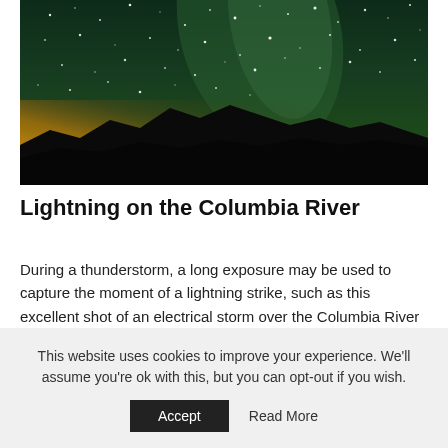[Figure (photo): Night sky photograph showing the Milky Way with stars on a dark green-tinted sky. A warm orange-yellow glow illuminates the horizon above a dark mountain silhouette.]
Lightning on the Columbia River
During a thunderstorm, a long exposure may be used to capture the moment of a lightning strike, such as this excellent shot of an electrical storm over the Columbia River at Astoria in Oregon.
This website uses cookies to improve your experience. We'll assume you're ok with this, but you can opt-out if you wish.